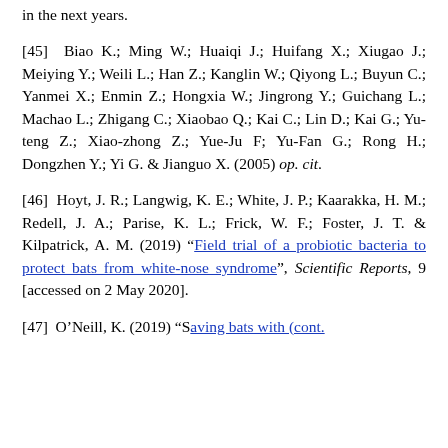in the next years.
[45] Biao K.; Ming W.; Huaiqi J.; Huifang X.; Xiugao J.; Meiying Y.; Weili L.; Han Z.; Kanglin W.; Qiyong L.; Buyun C.; Yanmei X.; Enmin Z.; Hongxia W.; Jingrong Y.; Guichang L.; Machao L.; Zhigang C.; Xiaobao Q.; Kai C.; Lin D.; Kai G.; Yu-teng Z.; Xiao-zhong Z.; Yue-Ju F; Yu-Fan G.; Rong H.; Dongzhen Y.; Yi G. & Jianguo X. (2005) op. cit.
[46] Hoyt, J. R.; Langwig, K. E.; White, J. P.; Kaarakka, H. M.; Redell, J. A.; Parise, K. L.; Frick, W. F.; Foster, J. T. & Kilpatrick, A. M. (2019) "Field trial of a probiotic bacteria to protect bats from white-nose syndrome", Scientific Reports, 9 [accessed on 2 May 2020].
[47] O'Neill, K. (2019) "Saving bats with (cont.)